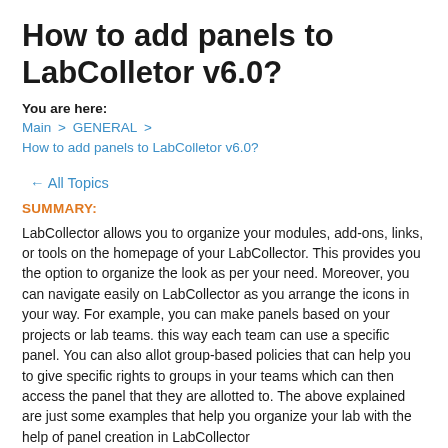How to add panels to LabColletor v6.0?
You are here:
Main > GENERAL >
How to add panels to LabColletor v6.0?
← All Topics
SUMMARY:
LabCollector allows you to organize your modules, add-ons, links, or tools on the homepage of your LabCollector. This provides you the option to organize the look as per your need. Moreover, you can navigate easily on LabCollector as you arrange the icons in your way. For example, you can make panels based on your projects or lab teams. this way each team can use a specific panel. You can also allot group-based policies that can help you to give specific rights to groups in your teams which can then access the panel that they are allotted to. The above explained are just some examples that help you organize your lab with the help of panel creation in LabCollector